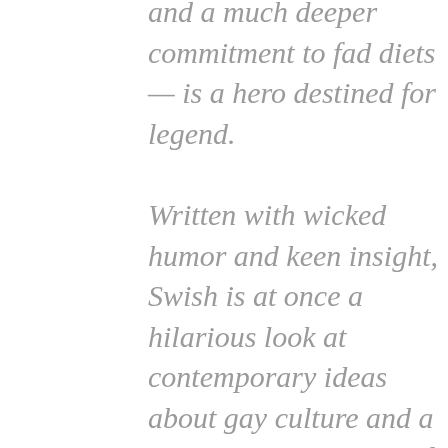and a much deeper commitment to fad diets — is a hero destined for legend.
Written with wicked humor and keen insight, Swish is at once a hilarious look at contemporary ideas about gay culture and a poignant exploration of identity that will speak to all readers